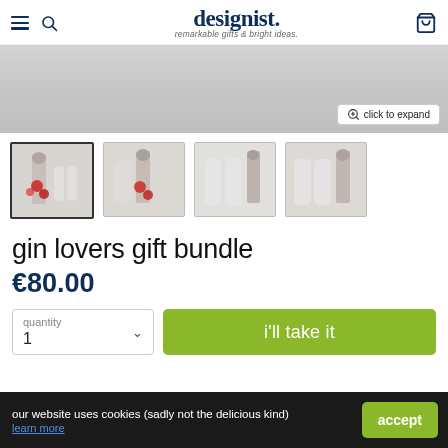designist. remarkable gifts & bright ideas.
[Figure (photo): Main product image of gin lovers gift bundle with gray background and expand button]
[Figure (photo): Four thumbnail images of gin lovers gift bundle showing glasses and bottle from various angles]
gin lovers gift bundle
€80.00
quantity 1
i'll take it
our website uses cookies (sadly not the delicious kind)
learn more
accept